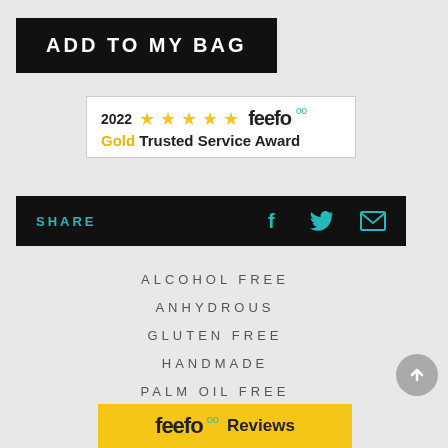ADD TO MY BAG
[Figure (logo): Feefo 2022 Gold Trusted Service Award badge with 5 gold stars]
SHARE  [facebook] [twitter] [email]
ALCOHOL FREE
ANHYDROUS
GLUTEN FREE
HANDMADE
PALM OIL FREE
PLASTIC FREE
[Figure (logo): Feefo Reviews logo button in yellow bar at bottom]